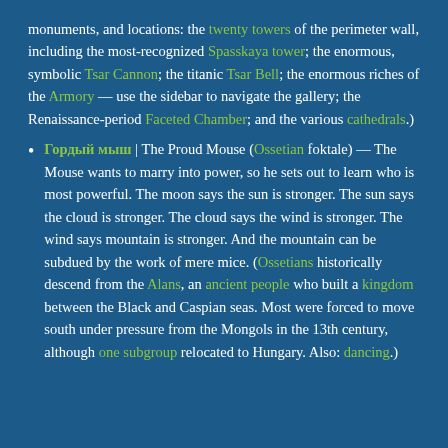monuments, and locations: the twenty towers of the perimeter wall, including the most-recognized Spasskaya tower; the enormous, symbolic Tsar Cannon; the titanic Tsar Bell; the enormous riches of the Armory — use the sidebar to navigate the gallery; the Renaissance-period Faceted Chamber; and the various cathedrals.)
Гордый мыш | The Proud Mouse (Ossetian foktale) — The Mouse wants to marry into power, so he sets out to learn who is most powerful. The moon says the sun is stronger. The sun says the cloud is stronger. The cloud says the wind is stronger. The wind says mountain is stronger. And the mountain can be subdued by the work of mere mice. (Ossetians historically descend from the Alans, an ancient people who built a kingdom between the Black and Caspian seas. Most were forced to move south under pressure from the Mongols in the 13th century, although one subgroup relocated to Hungary. Also: dancing.)